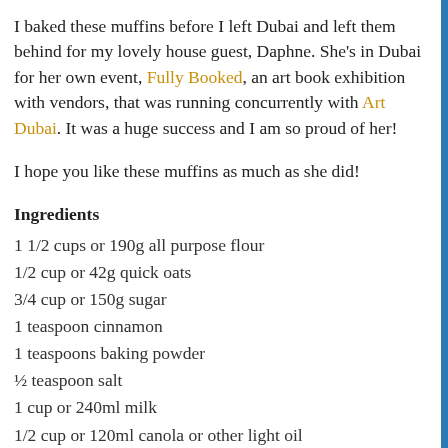I baked these muffins before I left Dubai and left them behind for my lovely house guest, Daphne. She's in Dubai for her own event, Fully Booked, an art book exhibition with vendors, that was running concurrently with Art Dubai. It was a huge success and I am so proud of her!
I hope you like these muffins as much as she did!
Ingredients
1 1/2 cups or 190g all purpose flour
1/2 cup or 42g quick oats
3/4 cup or 150g sugar
1 teaspoon cinnamon
1 teaspoons baking powder
½ teaspoon salt
1 cup or 240ml milk
1/2 cup or 120ml canola or other light oil
1 teaspoon vanilla
1 large egg
1 large apple